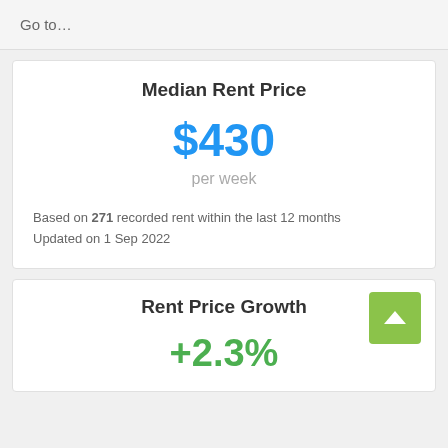Go to…
Median Rent Price
$430
per week
Based on 271 recorded rent within the last 12 months
Updated on 1 Sep 2022
Rent Price Growth
+2.3%